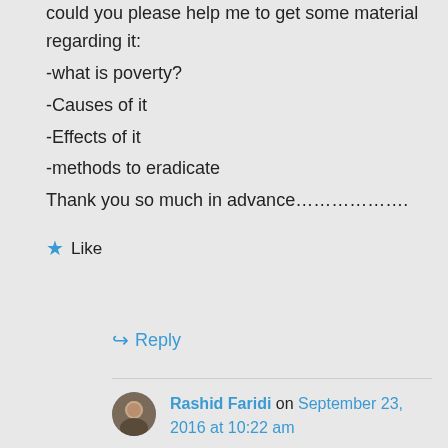could you please help me to get some material regarding it:
-what is poverty?
-Causes of it
-Effects of it
-methods to eradicate
Thank you so much in advance……………….
Like
Reply
Rashid Faridi on September 23, 2016 at 10:22 am
please see
https://rashidfaridi.com/2014/02/27/